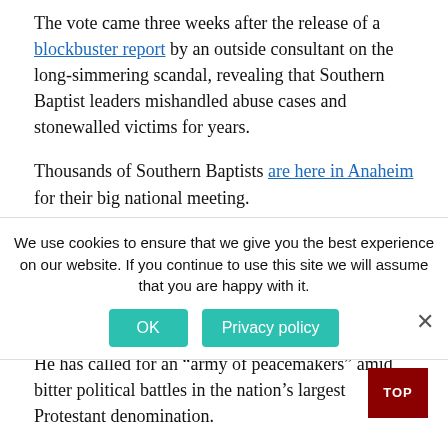The vote came three weeks after the release of a blockbuster report by an outside consultant on the long-simmering scandal, revealing that Southern Baptist leaders mishandled abuse cases and stonewalled victims for years.
Thousands of Southern Baptists are here in Anaheim for their big national meeting.
They elected a new SBC president, Texas pastor Bart Barber, who is a staunch proponent of Southern Baptists' conservative views but who says he has a track record of dialogue with those who disagree.
He has called for an “army of peacemakers” amid bitter political battles in the nation’s largest Protestant denomination.
He defeated three other candidates and ultimately prevailed in a runoff. His closest rival, Tom Ascol, had complained of too much “wokeness” in the denomination and sought to move it further to the right.
Also Tuesday, the delegates debated but didn’t pass...
[Figure (other): Cookie consent banner with text: We use cookies to ensure that we give you the best experience on our website. If you continue to use this site we will assume that you are happy with it. Two buttons: OK and Privacy policy.]